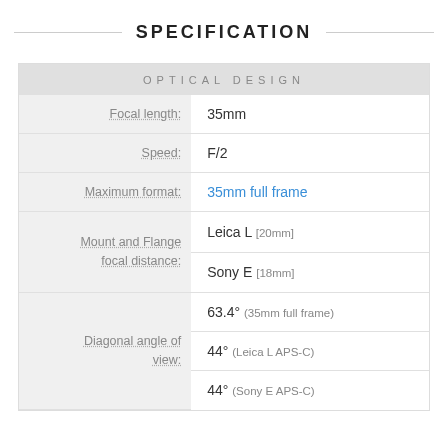SPECIFICATION
OPTICAL DESIGN
| Property | Value |
| --- | --- |
| Focal length: | 35mm |
| Speed: | F/2 |
| Maximum format: | 35mm full frame |
| Mount and Flange focal distance: | Leica L [20mm] / Sony E [18mm] |
| Diagonal angle of view: | 63.4° (35mm full frame) / 44° (Leica L APS-C) / 44° (Sony E APS-C) |